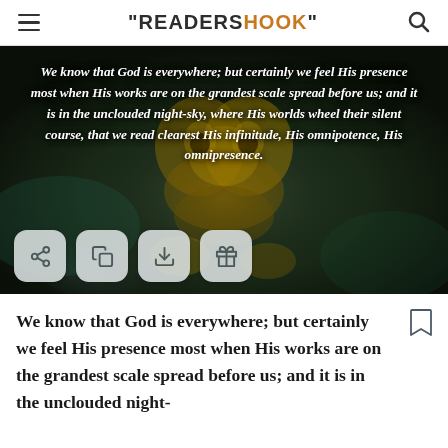"READERSHOOK"
[Figure (illustration): Dark fantasy golden robotic heart figure with smoke/mist, with a white italic quote overlaid: 'We know that God is everywhere; but certainly we feel His presence most when His works are on the grandest scale spread before us; and it is in the unclouded night-sky, where His worlds wheel their silent course, that we read clearest His infinitude, His omnipotence, His omnipresence.' Four action buttons (share, copy, download, gift) shown at bottom of image.]
We know that God is everywhere; but certainly we feel His presence most when His works are on the grandest scale spread before us; and it is in the unclouded night-